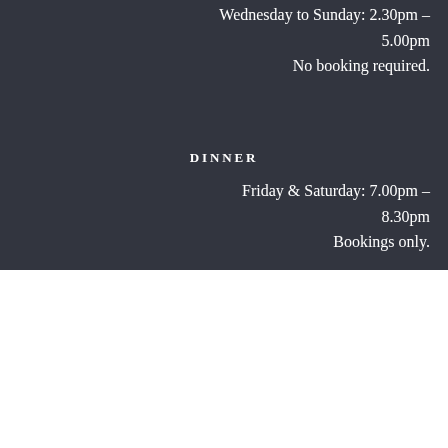Wednesday to Sunday: 2.30pm – 5.00pm
No booking required.
DINNER
Friday & Saturday: 7.00pm – 8.30pm
Bookings only.